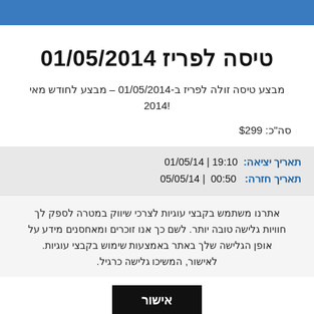טיסה לפריז 01/05/2014
מבצע טיסה זולה לפריז ב-01/05/2014 – מבצע לחודש מאי 2014!
סה"כ: $299
תאריך יציאה: 19:10 | 01/05/14
תאריך חזרה: 00:50 | 05/05/14
אתרנו משתמש בקבצי עוגיות לצרכי שיווק במטרה לספק לך חוויות גלישה טובה יותר. לשם כך אנו זוכרים ומאחסנים מידע על אופן הגלישה שלך באתר באמצעות שימוש בקבצי עוגיות. לאישור, המשיכו גלישה כרגיל.
אישור